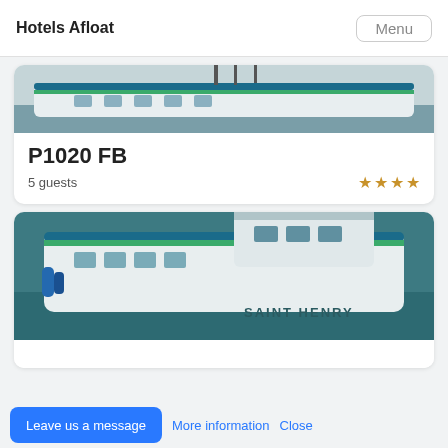Hotels Afloat
[Figure (photo): Partial photo of a white boat/houseboat viewed from above, clipped at top of page]
P1020 FB
5 guests
[Figure (photo): Aerial photo of a white boat named 'SAINT HENRY' with green stripe on water]
Leave us a message
More information
Close